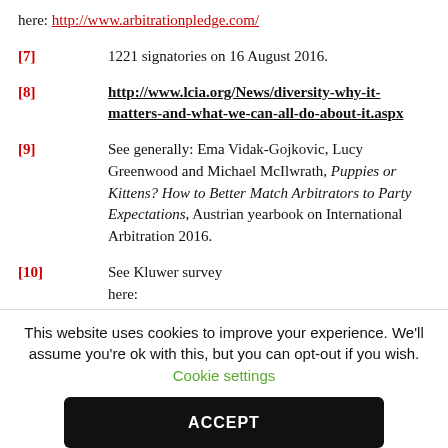here: http://www.arbitrationpledge.com/
[7]   1221 signatories on 16 August 2016.
[8]   http://www.lcia.org/News/diversity-why-it-matters-and-what-we-can-all-do-about-it.aspx
[9]   See generally: Ema Vidak-Gojkovic, Lucy Greenwood and Michael McIlwrath, Puppies or Kittens? How to Better Match Arbitrators to Party Expectations, Austrian yearbook on International Arbitration 2016.
[10]  See Kluwer survey here: http://kluwerarbitrationblog.com/2016/08/08/pup
This website uses cookies to improve your experience. We'll assume you're ok with this, but you can opt-out if you wish. Cookie settings ACCEPT